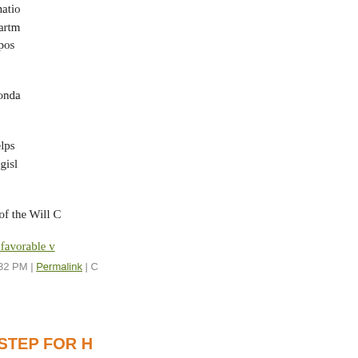patronage office seeks confirmation to transfer an Agriculture Department transportation agency - into a position hired on merit, not politics.
Taking his place would be Rhonda Larry Walsh.
"If this can be confirmed, it helps Handley, then Blagojevich's legislative obtained by the AP.
Larry Walsh is now chairman of the Will C
Link: AP: Gov's office sought favorable v
Monday, March 31, 2008 at 01:32 PM | Permalink | C
[Figure (other): Twitter Tweet button]
ANOTHER SMALL STEP FOR H
If you think Chicago teachers aren't paid benefits they'll be getting if State Rep. G in the House.
With HB 4731, in addition to the health b